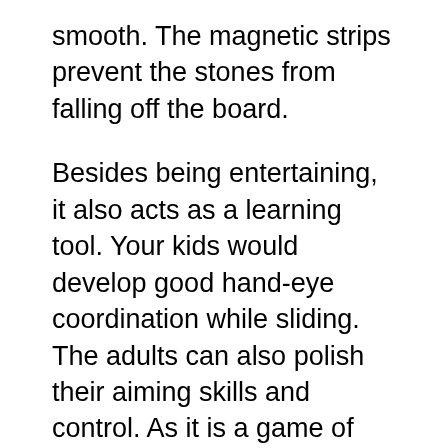smooth. The magnetic strips prevent the stones from falling off the board.
Besides being entertaining, it also acts as a learning tool. Your kids would develop good hand-eye coordination while sliding. The adults can also polish their aiming skills and control. As it is a game of patience, coordination, and balance, it's worth trying.
Best Tabletop Curling Games:
This is a small game for kids to play. It's easy to pack with you on vacation and is entertaining enough to keep children off their phones and